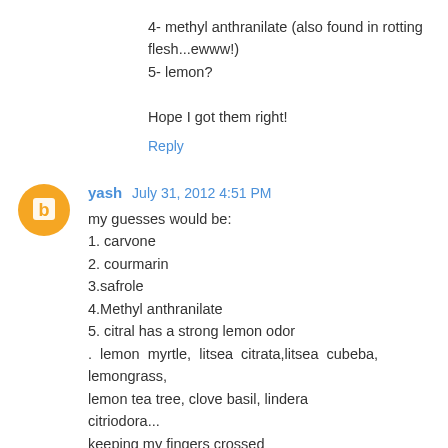4- methyl anthranilate (also found in rotting flesh...ewww!)
5- lemon?
Hope I got them right!
Reply
yash  July 31, 2012 4:51 PM
my guesses would be:
1. carvone
2. courmarin
3.safrole
4.Methyl anthranilate
5. citral has a strong lemon odor
.  lemon  myrtle,  litsea  citrata,litsea  cubeba,  lemongrass, lemon tea tree, clove basil, lindera citriodora...
keeping my fingers crossed
Reply